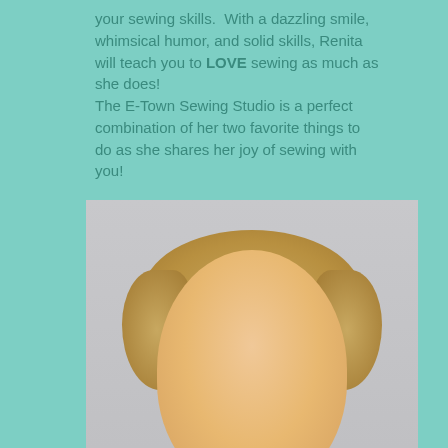your sewing skills.  With a dazzling smile, whimsical humor, and solid skills, Renita will teach you to LOVE sewing as much as she does!
The E-Town Sewing Studio is a perfect combination of her two favorite things to do as she shares her joy of sewing with you!

Thanks for stopping in for a visit!
[Figure (photo): Portrait photo of a smiling middle-aged woman with short blonde hair, wearing glasses, against a light gray background]